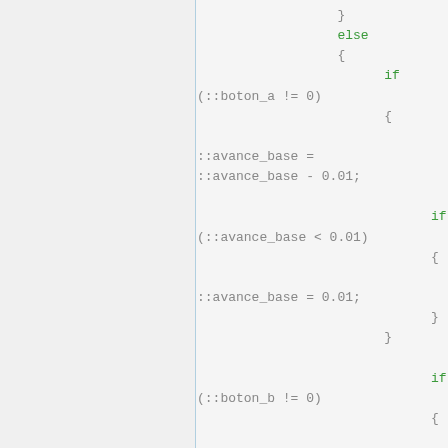[Figure (screenshot): Code snippet showing conditional logic in a scripting language. Contains else/if blocks checking ::boton_a and ::boton_b variables and modifying ::avance_base values.]